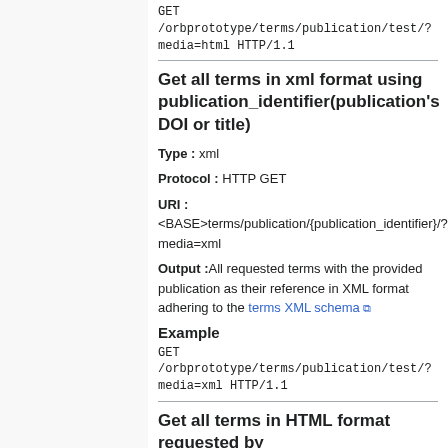GET /orbprototype/terms/publication/test/?
media=html HTTP/1.1
Get all terms in xml format using publication_identifier(publication's DOI or title)
Type : xml
Protocol : HTTP GET
URI :
<BASE>terms/publication/{publication_identifier}/?
media=xml
Output :All requested terms with the provided publication as their reference in XML format adhering to the terms XML schema
Example
GET /orbprototype/terms/publication/test/?
media=xml HTTP/1.1
Get all terms in HTML format requested by {requester_identifier}